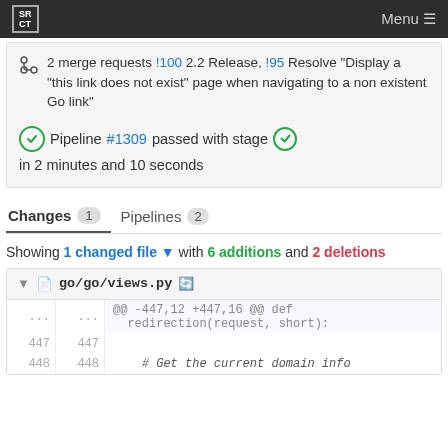SRCT Menu
2 merge requests !100 2.2 Release, !95 Resolve "Display a "this link does not exist" page when navigating to a non existent Go link"
Pipeline #1309 passed with stage in 2 minutes and 10 seconds
Changes 1   Pipelines 2
Showing 1 changed file with 6 additions and 2 deletions
| ... | ... | @@ -447,12 +447,16 @@ def redirection(request, short): |
| --- | --- | --- |
| 447 | 447 |  |
| 448 | 448 | # Get the current domain info |